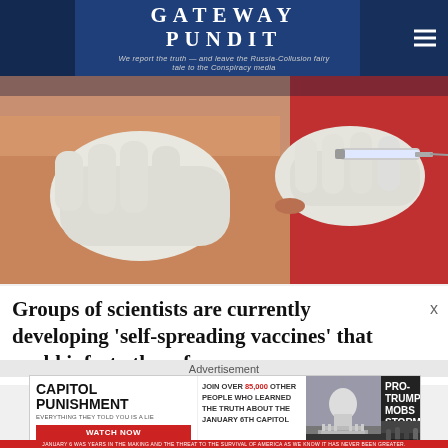GATEWAY PUNDIT — We report the truth — and leave the Russia-Collusion fairy tale to the Conspiracy media
[Figure (photo): Close-up photo of a gloved healthcare worker administering a vaccine injection into a patient's arm]
Groups of scientists are currently developing 'self-spreading vaccines' that could infect others from
[Figure (photo): Advertisement for 'Capitol Punishment' documentary — JOIN OVER 85,000 OTHER PEOPLE WHO LEARNED THE TRUTH ABOUT THE JANUARY 6TH CAPITOL. WATCH NOW. PRO-TRUMP MOBS STORM US CAPITOL. JANUARY 6 WAS YEARS IN THE MAKING AND THE THREAT TO THE SURVIVAL OF AMERICA AS WE KNOW IT HAS NEVER BEEN GREATER.]
Advertisement